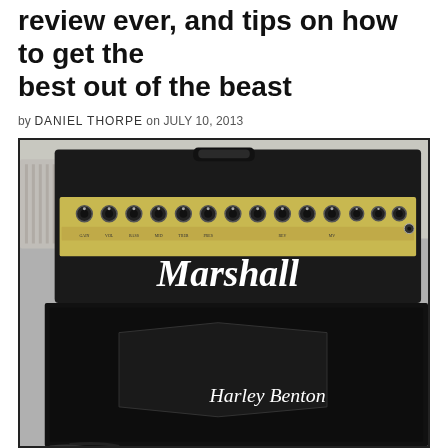review ever, and tips on how to get the best out of the beast
by DANIEL THORPE on JULY 10, 2013
[Figure (photo): Photo of a Marshall guitar amplifier head (black with gold control panel showing multiple knobs) sitting on top of a Harley Benton speaker cabinet (black). The Marshall logo appears in white script on the amp head, and Harley Benton logo in white script on the cabinet below.]